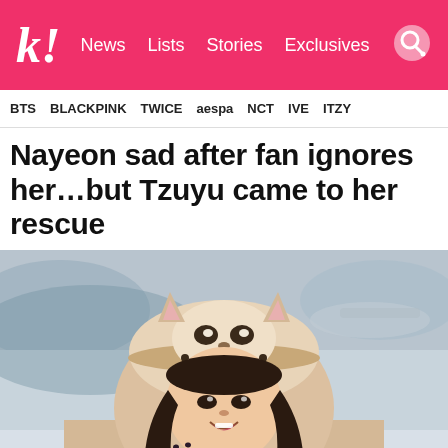k! News  Lists  Stories  Exclusives
BTS  BLACKPINK  TWICE  aespa  NCT  IVE  ITZY
Nayeon sad after fan ignores her…but Tzuyu came to her rescue
[Figure (photo): Young woman wearing a beige/cream animal hoodie with panda/cat ears, smiling and making a peace sign at what appears to be an airport]